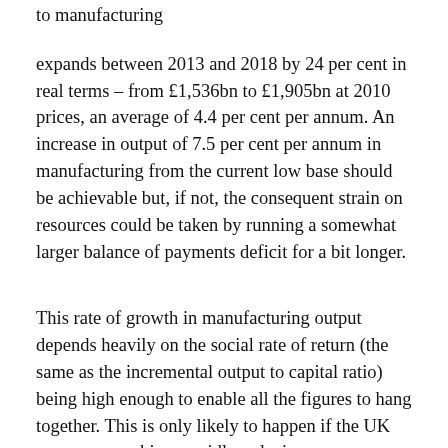to manufacturing
expands between 2013 and 2018 by 24 per cent in real terms – from £1,536bn to £1,905bn at 2010 prices, an average of 4.4 per cent per annum. An increase in output of 7.5 per cent per annum in manufacturing from the current low base should be achievable but, if not, the consequent strain on resources could be taken by running a somewhat larger balance of payments deficit for a bit longer.
This rate of growth in manufacturing output depends heavily on the social rate of return (the same as the incremental output to capital ratio) being high enough to enable all the figures to hang together. This is only likely to happen if the UK economy combines rapidly reducing unemployment with a recapturing of a sufficiently substantial amount of the highly productive light industry, with high returns and short gestation periods,